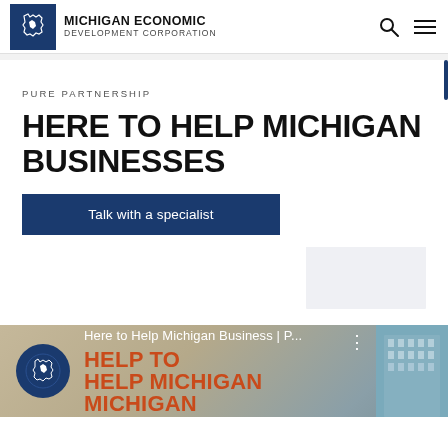MICHIGAN ECONOMIC DEVELOPMENT CORPORATION
PURE PARTNERSHIP
HERE TO HELP MICHIGAN BUSINESSES
Talk with a specialist
[Figure (screenshot): Video thumbnail preview showing building image, Michigan Economic Development Corporation logo circle, 'Here to Help Michigan Business | P...' text, and 'HELP MICHIGAN' text in orange/brown below]